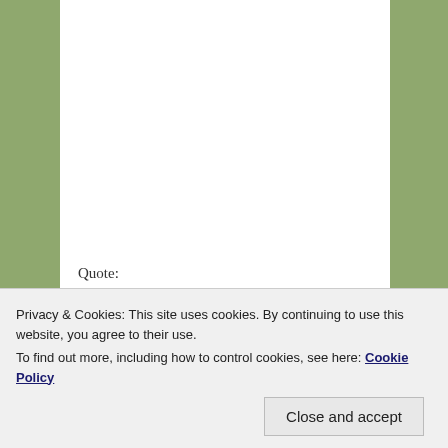Quote:
This dream is in association with the following scenarios in your life
There have been many difficulties in order for you to understand what your true ambition is in life.
Privacy & Cookies: This site uses cookies. By continuing to use this website, you agree to their use.
To find out more, including how to control cookies, see here: Cookie Policy
Close and accept